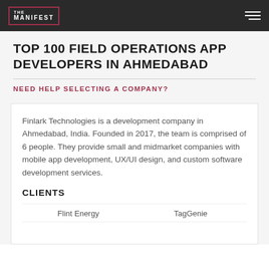THE MANIFEST
TOP 100 FIELD OPERATIONS APP DEVELOPERS IN AHMEDABAD
NEED HELP SELECTING A COMPANY?
Finlark Technologies is a development company in Ahmedabad, India. Founded in 2017, the team is comprised of 6 people. They provide small and midmarket companies with mobile app development, UX/UI design, and custom software development services.
CLIENTS
Flint Energy
TagGenie